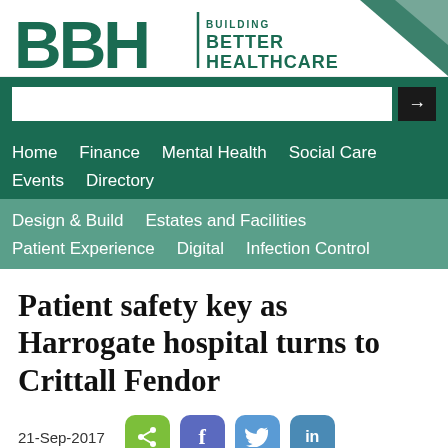[Figure (logo): Building Better Healthcare logo with BBH letters in dark green and triangle decoration]
Home  Finance  Mental Health  Social Care  Events  Directory
Design & Build  Estates and Facilities  Patient Experience  Digital  Infection Control
Patient safety key as Harrogate hospital turns to Crittall Fendor
21-Sep-2017